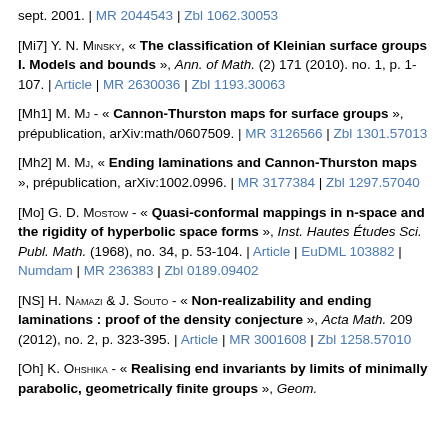sept. 2001. | MR 2044543 | Zbl 1062.30053
[Mi7] Y. N. Minsky, « The classification of Kleinian surface groups I. Models and bounds », Ann. of Math. (2) 171 (2010). no. 1, p. 1-107. | Article | MR 2630036 | Zbl 1193.30063
[Mh1] M. Mj - « Cannon-Thurston maps for surface groups », prépublication, arXiv:math/0607509. | MR 3126566 | Zbl 1301.57013
[Mh2] M. Mj, « Ending laminations and Cannon-Thurston maps », prépublication, arXiv:1002.0996. | MR 3177384 | Zbl 1297.57040
[Mo] G. D. Mostow - « Quasi-conformal mappings in n-space and the rigidity of hyperbolic space forms », Inst. Hautes Études Sci. Publ. Math. (1968), no. 34, p. 53-104. | Article | EuDML 103882 | Numdam | MR 236383 | Zbl 0189.09402
[NS] H. Namazi & J. Souto - « Non-realizability and ending laminations : proof of the density conjecture », Acta Math. 209 (2012), no. 2, p. 323-395. | Article | MR 3001608 | Zbl 1258.57010
[Oh] K. Ohshika - « Realising end invariants by limits of minimally parabolic, geometrically finite groups », Geom.